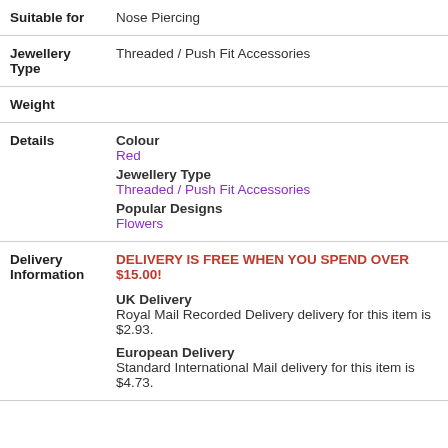| Field | Value |
| --- | --- |
| Suitable for | Nose Piercing |
| Jewellery Type | Threaded / Push Fit Accessories |
| Weight |  |
| Details | Colour
Red
Jewellery Type
Threaded / Push Fit Accessories
Popular Designs
Flowers |
| Delivery Information | DELIVERY IS FREE WHEN YOU SPEND OVER $15.00!
UK Delivery
Royal Mail Recorded Delivery delivery for this item is $2.93.
European Delivery
Standard International Mail delivery for this item is $4.73. |